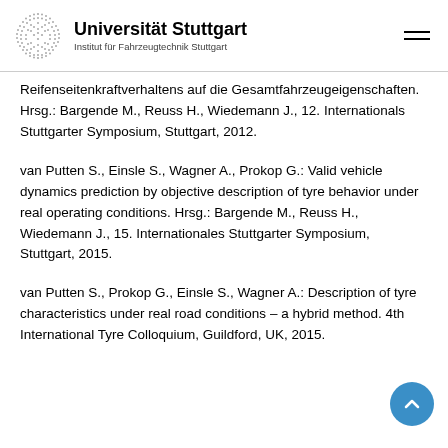Universität Stuttgart — Institut für Fahrzeugtechnik Stuttgart
Reifenseitenkraftverhaltens auf die Gesamtfahrzeugeigenschaften. Hrsg.: Bargende M., Reuss H., Wiedemann J., 12. Internationals Stuttgarter Symposium, Stuttgart, 2012.
van Putten S., Einsle S., Wagner A., Prokop G.: Valid vehicle dynamics prediction by objective description of tyre behavior under real operating conditions. Hrsg.: Bargende M., Reuss H., Wiedemann J., 15. Internationales Stuttgarter Symposium, Stuttgart, 2015.
van Putten S., Prokop G., Einsle S., Wagner A.: Description of tyre characteristics under real road conditions – a hybrid method. 4th International Tyre Colloquium, Guildford, UK, 2015.